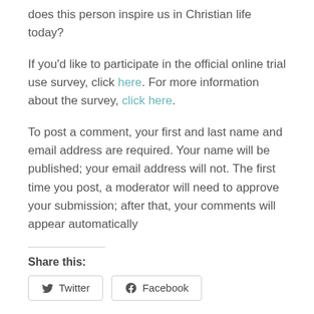does this person inspire us in Christian life today?
If you'd like to participate in the official online trial use survey, click here. For more information about the survey, click here.
To post a comment, your first and last name and email address are required. Your name will be published; your email address will not. The first time you post, a moderator will need to approve your submission; after that, your comments will appear automatically
Share this:
Twitter  Facebook
Loading